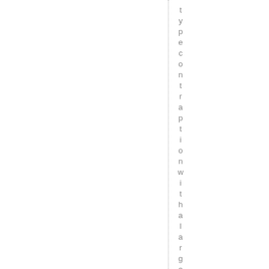typecontraption with a large to